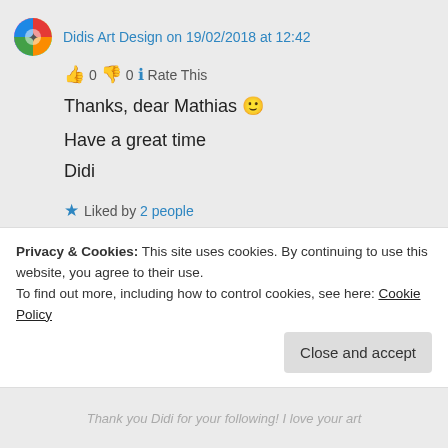Didis Art Design on 19/02/2018 at 12:42
👍 0 👎 0 ℹ Rate This
Thanks, dear Mathias 🙂
Have a great time
Didi
★ Liked by 2 people
Log in to Reply
Privacy & Cookies: This site uses cookies. By continuing to use this website, you agree to their use.
To find out more, including how to control cookies, see here: Cookie Policy
Close and accept
Thank you Didi for your following! I love your art